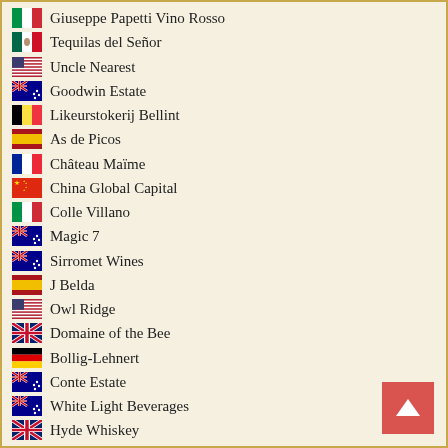Giuseppe Papetti Vino Rosso
Tequilas del Señor
Uncle Nearest
Goodwin Estate
Likeurstokerij Bellint
As de Picos
Château Maïme
China Global Capital
Colle Villano
Magic 7
Sirromet Wines
J Belda
Owl Ridge
Domaine of the Bee
Bollig-Lehnert
Conte Estate
White Light Beverages
Hyde Whiskey
Minkov Brothers
Mino + Co